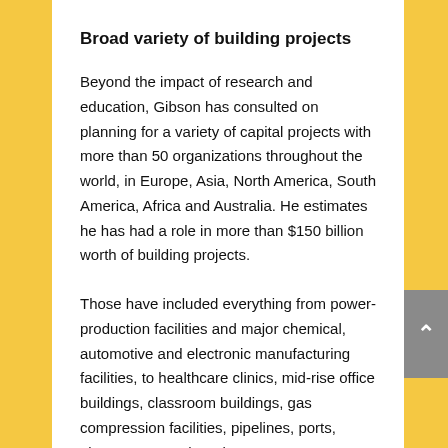Broad variety of building projects
Beyond the impact of research and education, Gibson has consulted on planning for a variety of capital projects with more than 50 organizations throughout the world, in Europe, Asia, North America, South America, Africa and Australia. He estimates he has had a role in more than $150 billion worth of building projects.
Those have included everything from power-production facilities and major chemical, automotive and electronic manufacturing facilities, to healthcare clinics, mid-rise office buildings, classroom buildings, gas compression facilities, pipelines, ports, airports, research and